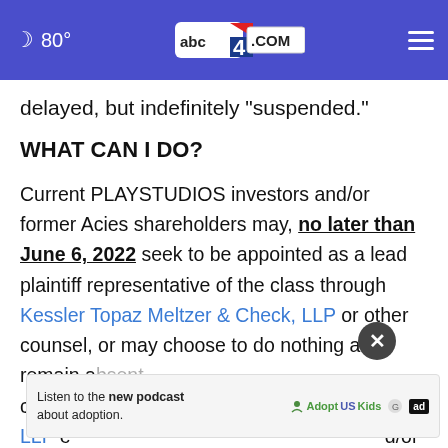80° abc4.com
delayed, but indefinitely "suspended."
WHAT CAN I DO?
Current PLAYSTUDIOS investors and/or former Acies shareholders may, no later than June 6, 2022 seek to be appointed as a lead plaintiff representative of the class through Kessler Topaz Meltzer & Check, LLP or other counsel, or may choose to do nothing and remain a absent class ... ck, LLP e ... d/or
[Figure (other): Ad banner: Listen to the new podcast about adoption. AdoptUSKids logo.]